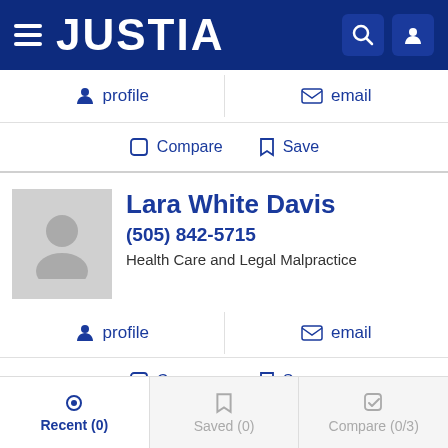JUSTIA
profile
email
Compare  Save
Lara White Davis
(505) 842-5715
Health Care and Legal Malpractice
profile
email
Compare  Save
Jay Hill
Recent (0)  Saved (0)  Compare (0/3)